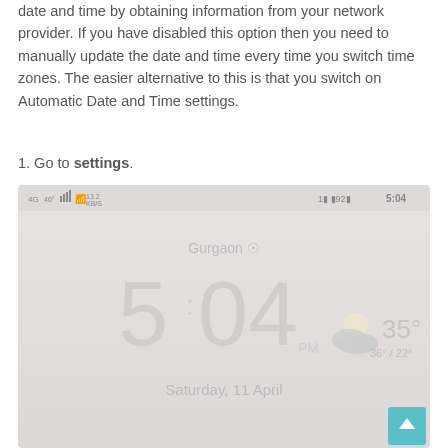date and time by obtaining information from your network provider. If you have disabled this option then you need to manually update the date and time every time you switch time zones. The easier alternative to this is that you switch on Automatic Date and Time settings.
1. Go to settings.
[Figure (screenshot): A smartphone home screen screenshot showing the time 5:04 PM, date Saturday 11 April, location Gurgaon, weather 35° with partly cloudy icon showing 36°/22°, status bar with network and battery icons. A teal back-to-top arrow button is visible in the bottom right.]